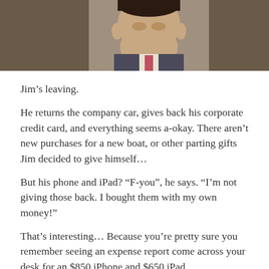[Figure (photo): Cropped photo of a man in a suit, head and shoulders, looking upward, dark background]
Jim’s leaving.
He returns the company car, gives back his corporate credit card, and everything seems a-okay. There aren’t new purchases for a new boat, or other parting gifts Jim decided to give himself…
But his phone and iPad? “F-you”, he says. “I’m not giving those back. I bought them with my own money!”
That’s interesting… Because you’re pretty sure you remember seeing an expense report come across your desk for an $850 iPhone and $650 iPad.
Sure enough, you check it out and that’s exactly what happened. That’s your $1500…